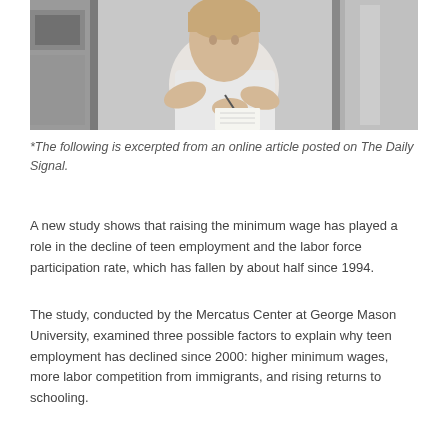[Figure (photo): A young woman in a white t-shirt writing on a notepad in what appears to be a kitchen or food service environment with stainless steel appliances visible in the background.]
*The following is excerpted from an online article posted on The Daily Signal.
A new study shows that raising the minimum wage has played a role in the decline of teen employment and the labor force participation rate, which has fallen by about half since 1994.
The study, conducted by the Mercatus Center at George Mason University, examined three possible factors to explain why teen employment has declined since 2000: higher minimum wages, more labor competition from immigrants, and rising returns to schooling.